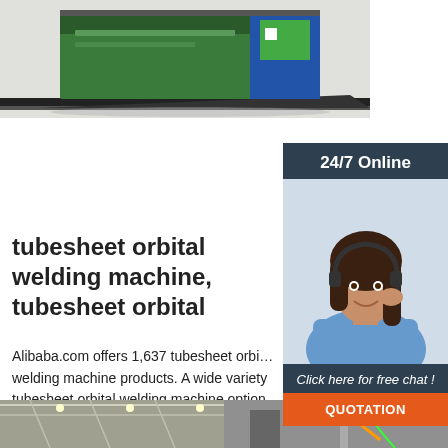[Figure (photo): Product photo of a large industrial container/box on rails, with Chinese text on the side, green and blue color scheme]
[Figure (photo): 24/7 Online customer support widget showing a smiling woman with a headset, dark navy background with 'Click here for free chat!' text and orange QUOTATION button]
tubesheet orbital welding machine, tubesheet orbital
Alibaba.com offers 1,637 tubesheet orbital welding machine products. A wide variety of tubesheet orbital welding machine options are available to you, such as key ...
[Figure (photo): Bottom strip showing interior of industrial factory/warehouse with welding equipment]